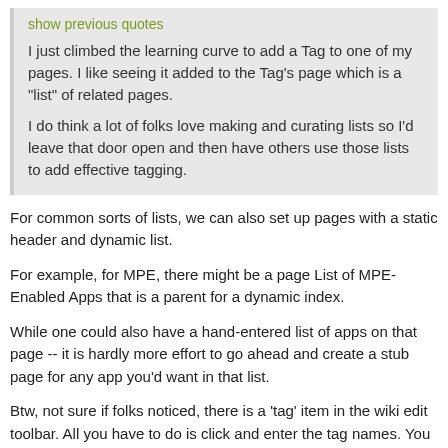show previous quotes
I just climbed the learning curve to add a Tag to one of my pages. I like seeing it added to the Tag's page which is a "list" of related pages.
I do think a lot of folks love making and curating lists so I'd leave that door open and then have others use those lists to add effective tagging.
For common sorts of lists, we can also set up pages with a static header and dynamic list.
For example, for MPE, there might be a page List of MPE-Enabled Apps that is a parent for a dynamic index.
While one could also have a hand-entered list of apps on that page -- it is hardly more effort to go ahead and create a stub page for any app you'd want in that list.
Btw, not sure if folks noticed, there is a 'tag' item in the wiki edit toolbar. All you have to do is click and enter the tag names. You